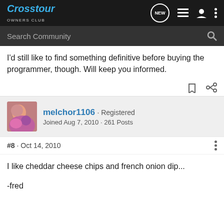Crosstour OWNERS CLUB
Search Community
I'd still like to find something definitive before buying the programmer, though. Will keep you informed.
melchor1106 · Registered
Joined Aug 7, 2010 · 261 Posts
#8 · Oct 14, 2010
I like cheddar cheese chips and french onion dip...

-fred